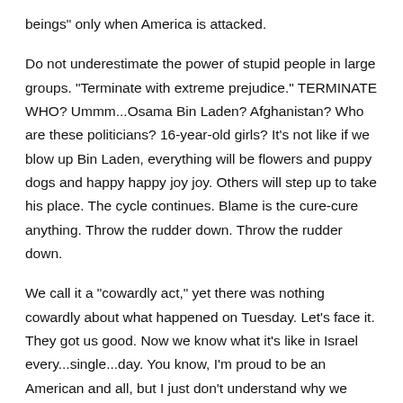beings" only when America is attacked.
Do not underestimate the power of stupid people in large groups. "Terminate with extreme prejudice." TERMINATE WHO? Ummm...Osama Bin Laden? Afghanistan? Who are these politicians? 16-year-old girls? It's not like if we blow up Bin Laden, everything will be flowers and puppy dogs and happy happy joy joy. Others will step up to take his place. The cycle continues. Blame is the cure-cure anything. Throw the rudder down. Throw the rudder down.
We call it a "cowardly act," yet there was nothing cowardly about what happened on Tuesday. Let's face it. They got us good. Now we know what it's like in Israel every...single...day. You know, I'm proud to be an American and all, but I just don't understand why we think we're superhuman, why we think that the name "America" is